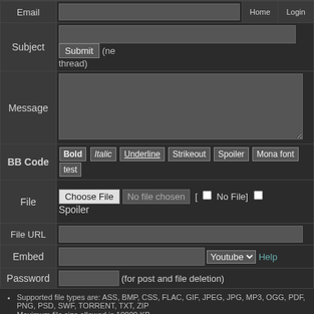| Email |  | Home | Login |
| Subject | Submit (new thread) |  |
| Message |  |
| BB Code | Bold Italic Underline Strikeout Spoiler Mona font test |
| File | Choose File  No file chosen  [ No File] Spoiler |
| File URL |  |
| Embed | Youtube Help |
| Password | (for post and file deletion) |
Supported file types are: ASS, BMP, CSS, FLAC, GIF, JPEG, JPG, MP3, OGG, PDF, PNG, PSD, SWF, TORRENT, TXT, ZIP
Maximum file size allowed is 10000 KB.
Images greater than 260x260 pixels will be thumbnailed.
Currently 1579 unique user posts.
board catalog
File 140355337984.png - (1.68KB , 89x29 , layout bug.png )
[ foe / vg / vn ]  There's sort of a little error on the top of the page Anonymous 06/23/14(Mon)12:56
No. 4918 [Reply] [Edit]
Replies: >>4919